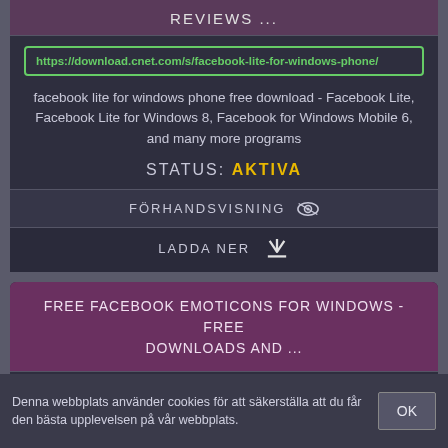REVIEWS ...
https://download.cnet.com/s/facebook-lite-for-windows-phone/
facebook lite for windows phone free download - Facebook Lite, Facebook Lite for Windows 8, Facebook for Windows Mobile 6, and many more programs
STATUS: AKTIVA
FÖRHANDSVISNING
LADDA NER
FREE FACEBOOK EMOTICONS FOR WINDOWS - FREE DOWNLOADS AND ...
https://download.cnet.com/s/facebook-emoticons/windows-free/
Denna webbplats använder cookies för att säkerställa att du får den bästa upplevelsen på vår webbplats.